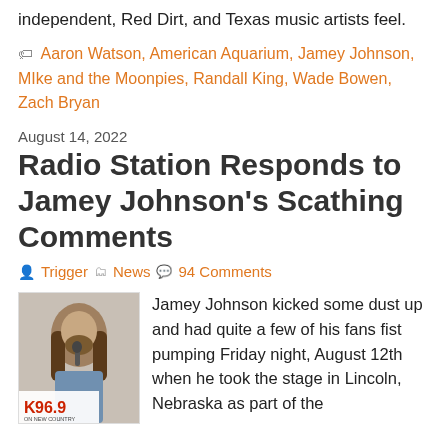independent, Red Dirt, and Texas music artists feel.
Aaron Watson, American Aquarium, Jamey Johnson, MIke and the Moonpies, Randall King, Wade Bowen, Zach Bryan
August 14, 2022
Radio Station Responds to Jamey Johnson's Scathing Comments
Trigger   News   94 Comments
[Figure (photo): Photo of Jamey Johnson performing with K96.9 ON NEW COUNTRY radio station logo overlay]
Jamey Johnson kicked some dust up and had quite a few of his fans fist pumping Friday night, August 12th when he took the stage in Lincoln, Nebraska as part of the